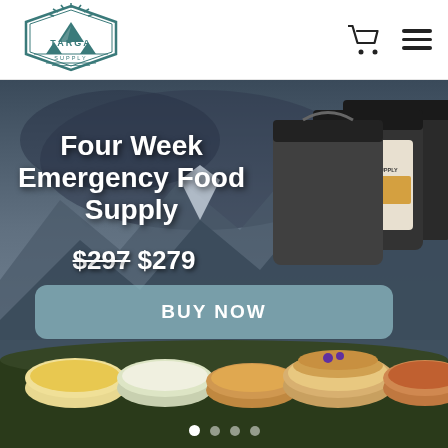[Figure (logo): Targa Supply logo — mountain with sun rays inside a hexagonal/shield badge, with text TARGA and SUPPLY]
[Figure (screenshot): E-commerce product hero page for Targa Supply showing Four Week Emergency Food Supply product with price $297 crossed out and $279, a BUY NOW button, product buckets (Ready Hour 30-Day Food Supply) and food dish photos, against a mountain landscape background with carousel dots at bottom]
Four Week Emergency Food Supply
$297 $279
BUY NOW